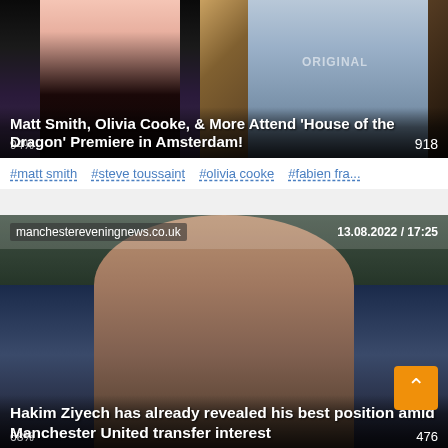[Figure (photo): Two celebrities at House of the Dragon premiere in Amsterdam — woman in black strapless dress on left, man in grey suit on right, with HBO Originals text visible in background]
Matt Smith, Olivia Cooke, & More Attend 'House of the Dragon' Premiere in Amsterdam!
94% · 918
#matt smith  #steve toussaint  #olivia cooke  #fabien fra...
[Figure (photo): Close-up portrait of Hakim Ziyech, footballer, with stadium blurred in background. Source: manchestereveningnews.co.uk, date: 13.08.2022 / 17:25]
Hakim Ziyech has already revealed his best position amid Manchester United transfer interest
68% · 476